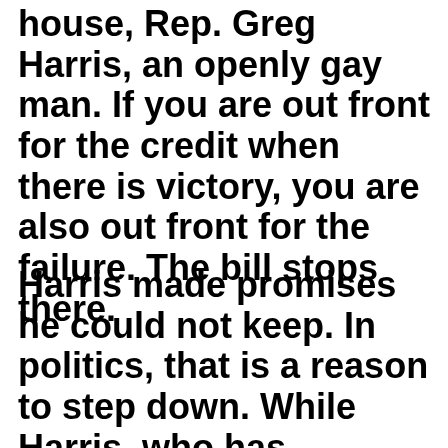house, Rep. Greg Harris, an openly gay man. If you are out front for the credit when there is victory, you are also out front for the failure. The bill stops there.
Harris made promises he could not keep. In politics, that is a reason to step down. While Harris, who has dedicated his career to LGBT and AIDS issues,